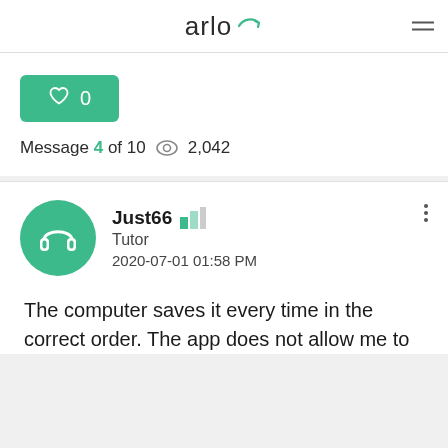arlo
♡ 0
Message 4 of 10   👁 2,042
Just66
Tutor
2020-07-01 01:58 PM
The computer saves it every time in the correct order. The app does not allow me to